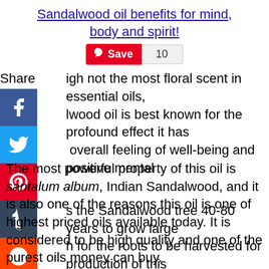Sandalwood oil benefits for mind, body and spirit!
[Figure (other): Pinterest Save button with count of 10]
Share igh not the most floral scent in essential oils, lwood oil is best known for the profound effect it has overall feeling of well-being and positive mental .
[Figure (other): Social share icons: Facebook, Twitter, Pinterest, Tumblr, Reddit, WhatsApp]
s the Sandalwood tree 40-80 years to grow large h for the roots to be harvested for production of this th it's sweet and woodsy smell, it is no wonder it is as a base fragrance for many perfumes, colognes, have and incense.
se this oil is a natural antiseptic, it can be used for cuts, wounds, bruises, insect bites, fungal infections, and scabies.
The most powerful property of this oil is santalum album, Indian Sandalwood, and it is also one of the reasons this oil is one of highest priced oils available today. It is considered to be high quality and one of the purest oils money can buy.